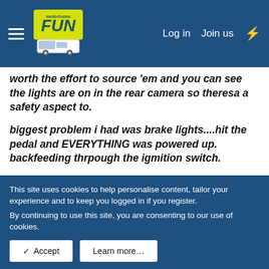Motorhome Fun — Log in  Join us
worth the effort to source 'em and you can see the lights are on in the rear camera so theresa a safety aspect to.
biggest problem i had was brake lights....hit the pedal and EVERYTHING was powered up. backfeeding thrpough the igmition switch.
i fitted a relay in the cars brake light circuit so the relay is triggered not the brake switch wiring...easier to do than explain.
This site uses cookies to help personalise content, tailor your experience and to keep you logged in if you register.
By continuing to use this site, you are consenting to our use of cookies.